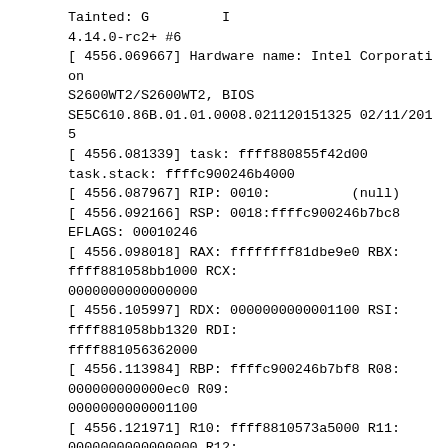Tainted: G         I
4.14.0-rc2+ #6
[ 4556.069667] Hardware name: Intel Corporation S2600WT2/S2600WT2, BIOS SE5C610.86B.01.01.0008.021120151325 02/11/2015
[ 4556.081339] task: ffff880855f42d00 task.stack: ffffc900246b4000
[ 4556.087967] RIP: 0010:          (null)
[ 4556.092166] RSP: 0018:ffffc900246b7bc8 EFLAGS: 00010246
[ 4556.098018] RAX: ffffffff81dbe9e0 RBX: ffff881058bb1000 RCX: 0000000000000000
[ 4556.105997] RDX: 0000000000001100 RSI: ffff881058bb1320 RDI: ffff881056362000
[ 4556.113984] RBP: ffffc900246b7bf8 R08: 000000000000ec0 R09: 0000000000001100
[ 4556.121971] R10: ffff8810573a5000 R11: 0000000000000000 R12: ffff881056362000